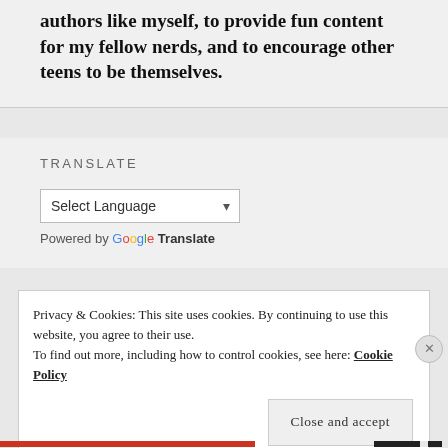authors like myself, to provide fun content for my fellow nerds, and to encourage other teens to be themselves.
TRANSLATE
Select Language
Powered by Google Translate
Privacy & Cookies: This site uses cookies. By continuing to use this website, you agree to their use.
To find out more, including how to control cookies, see here: Cookie Policy
Close and accept